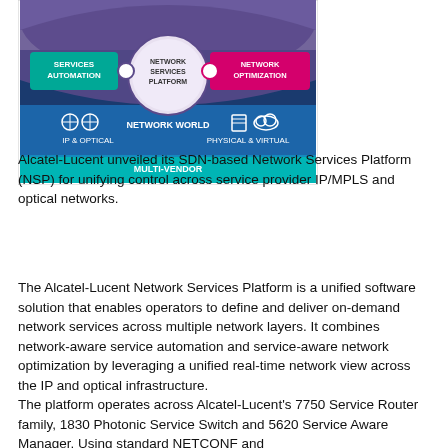[Figure (schematic): Alcatel-Lucent Network Services Platform (NSP) diagram showing Services Automation and Network Optimization connected to a central Network Services Platform hub, above a Network World layer with IP & Optical and Physical & Virtual elements in a Multi-Vendor environment.]
Alcatel-Lucent unveiled its SDN-based Network Services Platform (NSP) for unifying control across service provider IP/MPLS and optical networks.
The Alcatel-Lucent Network Services Platform is a unified software solution that enables operators to define and deliver on-demand network services across multiple network layers. It combines network-aware service automation and service-aware network optimization by leveraging a unified real-time network view across the IP and optical infrastructure.
The platform operates across Alcatel-Lucent's 7750 Service Router family, 1830 Photonic Service Switch and 5620 Service Aware Manager. Using standard NETCONF and